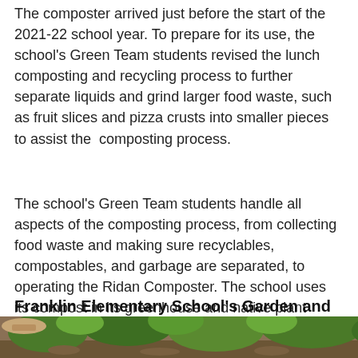The composter arrived just before the start of the 2021-22 school year. To prepare for its use, the school's Green Team students revised the lunch composting and recycling process to further separate liquids and grind larger food waste, such as fruit slices and pizza crusts into smaller pieces to assist the  composting process.
The school's Green Team students handle all aspects of the composting process, from collecting food waste and making sure recyclables, compostables, and garbage are separated, to operating the Ridan Composter. The school uses its compost in its greenhouse and native plant repository to grow native plants for use in local environmental restoration projects.
Franklin Elementary School's Garden and Compost Program
[Figure (photo): Partial view of a photo showing plants and soil, likely from Franklin Elementary School's garden, cropped at the bottom of the page.]